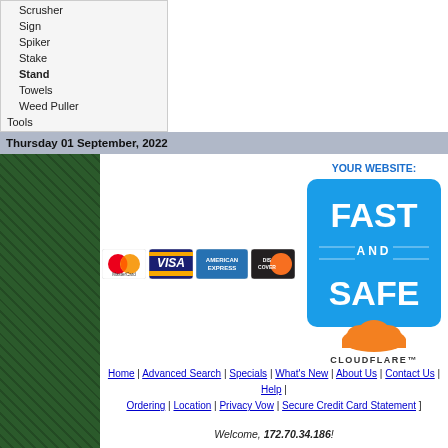Scrusher
Sign
Spiker
Stake
Stand
Towels
Weed Puller
Tools
Used Equipment
Work Order
Thursday 01 September, 2022
[Figure (logo): MasterCard, Visa, American Express, Discover credit card logos]
Copyright © E.H. Griffith. About this site.
[Figure (infographic): YOUR WEBSITE: FAST AND SAFE badge in blue with Cloudflare logo below]
Home | Advanced Search | Specials | What's New | About Us | Contact Us | Help | Ordering | Location | Privacy Vow | Secure Credit Card Statement ]
Welcome, 172.70.34.186!